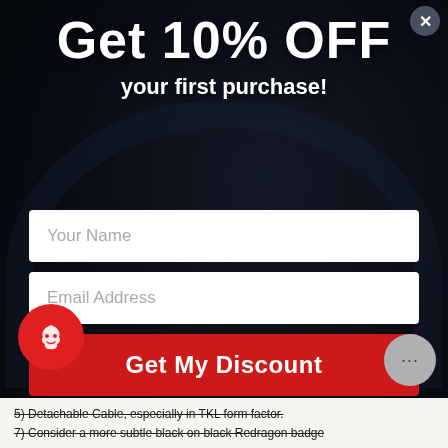[Figure (screenshot): Dark background with gaming headphones and peripherals photo]
Get 10% OFF
your first purchase!
Your Name (input field placeholder)
Email Address (input field placeholder)
Get My Discount
No, Thanks.
By fulfilling this form, you agree to receive newsletters from Redragons
5) Detachable Cable, especially in TKL form factor.
7) Consider a more subtle black on black Redragon badge